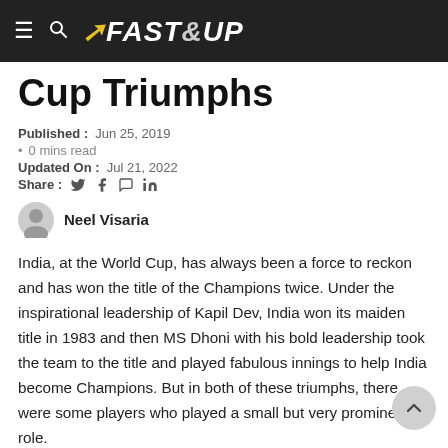Fast&Up
Cup Triumphs
Published : Jun 25, 2019
0 mins read
Updated On : Jul 21, 2022
Share :
Neel Visaria
India, at the World Cup, has always been a force to reckon and has won the title of the Champions twice. Under the inspirational leadership of Kapil Dev, India won its maiden title in 1983 and then MS Dhoni with his bold leadership took the team to the title and played fabulous innings to help India become Champions. But in both of these triumphs, there were some players who played a small but very prominent role.